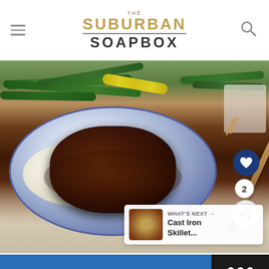THE SUBURBAN SOAPBOX
[Figure (photo): A hamburger steak or Salisbury steak on a blue and white decorative plate, served with mashed potatoes topped with brown gravy and caramelized onions, alongside green beans and yellow squash. A fork rests on the plate. Social interaction buttons (heart/love and share) are visible on the right side. A 'What's Next' preview box shows a Cast Iron Skillet dish.]
WHAT'S NEXT → Cast Iron Skillet...
[Figure (screenshot): Advertisement banner with blue background showing the text "Let's hang out and talk!" in white italic bold font, alongside a dark background section with the MeetUp/box logo showing dots and the word 'box!']